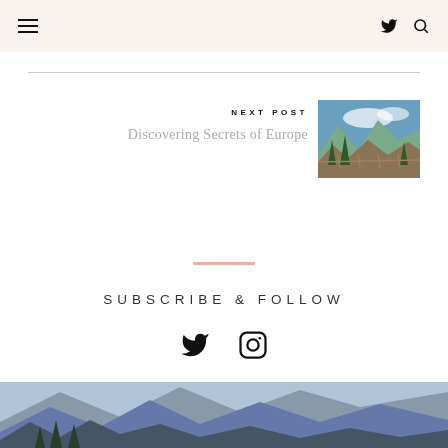Navigation header with hamburger menu, Twitter icon, and search icon
NEXT POST
Discovering Secrets of Europe
[Figure (photo): Mountain landscape with pine trees and a wooden fence, rocky terrain and blue sky with clouds]
[Figure (other): Pink horizontal divider line]
SUBSCRIBE & FOLLOW
[Figure (other): Twitter and Instagram social media icons]
[Figure (photo): Mountain landscape with rocky peaks, trees in foreground, winter/alpine scene]